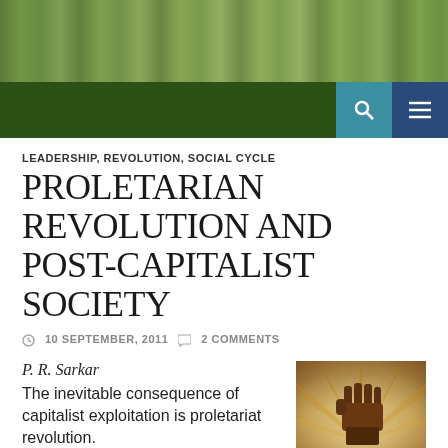[Figure (photo): Website header banner with green foliage/nature background image]
Navigation bar with search and menu icons
LEADERSHIP, REVOLUTION, SOCIAL CYCLE
PROLETARIAN REVOLUTION AND POST-CAPITALIST SOCIETY
10 SEPTEMBER, 2011  2 COMMENTS
P. R. Sarkar
The inevitable consequence of capitalist exploitation is proletariat revolution.
[Figure (illustration): Illustration of a raised fist with radiating sunburst rays in a vintage propaganda poster style, brown/tan color scheme]